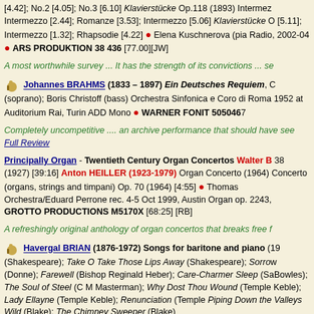[4.42]; No.2 [4.05]; No.3 [6.10] Klavierstücke Op.118 (1893) Intermezzo Intermezzo [2.44]; Romanze [3.53]; Intermezzo [5.06] Klavierstücke Op. [5.11]; Intermezzo [1.32]; Rhapsodie [4.22] ● Elena Kuschnerova (piano) Radio, 2002-04 ● ARS PRODUKTION 38 436 [77.00][JW]
A most worthwhile survey ... It has the strength of its convictions ... se
Johannes BRAHMS (1833 – 1897) Ein Deutsches Requiem, (soprano); Boris Christoff (bass) Orchestra Sinfonica e Coro di Roma 1952 at Auditorium Rai, Turin ADD Mono ● WARNER FONIT 5050467
Completely uncompetitive .... an archive performance that should have see Full Review
Principally Organ - Twentieth Century Organ Concertos Walter B 38 (1927) [39:16] Anton HEILLER (1923-1979) Organ Concerto (1964) Concerto (organs, strings and timpani) Op. 70 (1964) [4:55] ● Thomas Orchestra/Eduard Perrone rec. 4-5 Oct 1999, Austin Organ op. 2243, GROTTO PRODUCTIONS M5170X [68:25] [RB]
A refreshingly original anthology of organ concertos that breaks free f
Havergal BRIAN (1876-1972) Songs for baritone and piano (1 (Shakespeare); Take O Take Those Lips Away (Shakespeare); Sorrow (Donne); Farewell (Bishop Reginald Heber); Care-Charmer Sleep (Sa Bowles); The Soul of Steel (C M Masterman); Why Dost Thou Wound (Temple Keble); Lady Ellayne (Temple Keble); Renunciation (Temple Piping Down the Valleys Wild (Blake); The Chimney Sweeper (Blake)